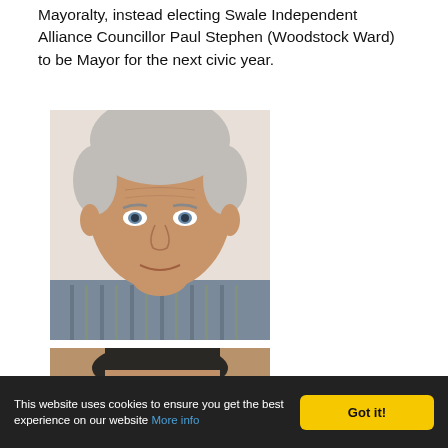Mayoralty, instead electing Swale Independent Alliance Councillor Paul Stephen (Woodstock Ward) to be Mayor for the next civic year.
[Figure (photo): Headshot photograph of an older man with grey/white hair wearing a striped shirt, looking at the camera]
[Figure (photo): Partial headshot photograph of a younger man with short dark hair and blue eyes, cropped at forehead and chin]
This website uses cookies to ensure you get the best experience on our website More info